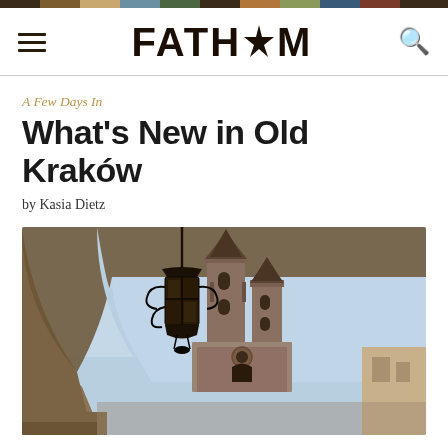FATH*M
A Few Days In
What's New in Old Kraków
by Kasia Dietz
[Figure (photo): View through a stone archway showing a Gothic church (St. Mary's Basilica in Kraków) with two towers and a decorative lantern hanging in the foreground, blue sky background.]